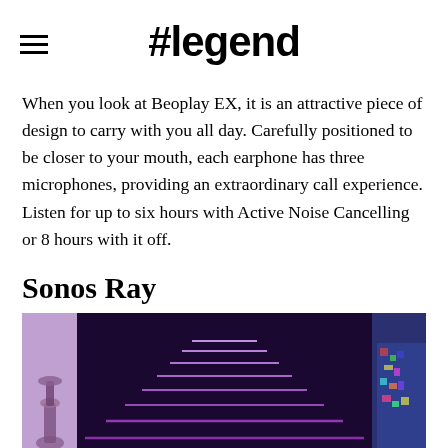#legend
When you look at Beoplay EX, it is an attractive piece of design to carry with you all day. Carefully positioned to be closer to your mouth, each earphone has three microphones, providing an extraordinary call experience. Listen for up to six hours with Active Noise Cancelling or 8 hours with it off.
Sonos Ray
[Figure (photo): A photo showing a dark purple-lit room with a TV or screen displaying neon purple horizontal staircase/pyramid lines. A decorative vase is visible on the left side and a person with colorful clothing is partially visible on the right side.]